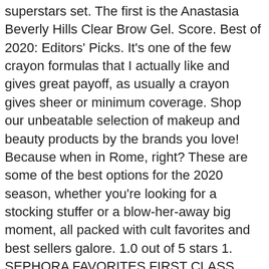superstars set. The first is the Anastasia Beverly Hills Clear Brow Gel. Score. Best of 2020: Editors' Picks. It's one of the few crayon formulas that I actually like and gives great payoff, as usually a crayon gives sheer or minimum coverage. Shop our unbeatable selection of makeup and beauty products by the brands you love! Because when in Rome, right? These are some of the best options for the 2020 season, whether you're looking for a stocking stuffer or a blow-her-away big moment, all packed with cult favorites and best sellers galore. 1.0 out of 5 stars 1. SEPHORA FAVORITES FIRST CLASS FAVORITES CHARLOTTE TILBURY MILK TARTE LANEIGE NEW. Hudson Sprayer 32 Oz Spray Bottle (Pack of 3) Trigger Empty Sprayer, for Use with Household & Commercial Cleaners. Every item on this page was chosen by a Town & Country editor. 0 It's a good liner, some might count it as great and I don't have any faults with it – but it's not one of the liquid liners I would say outdoes most others. $59.90 $ 59. She'll think so too. Endless Color Blockbuster / 10 56 Sephora Favorites. There's probably no more universally pleasing gift than a beauty gift. IM IN LOVE! Limited Edition. At